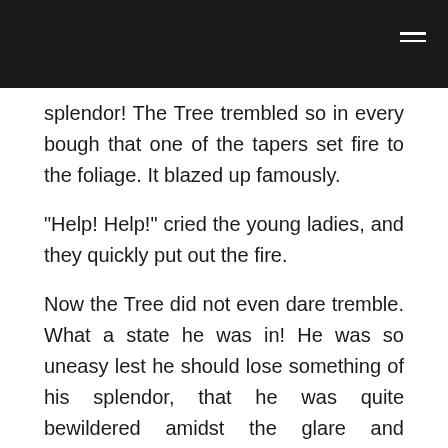splendor! The Tree trembled so in every bough that one of the tapers set fire to the foliage. It blazed up famously.
"Help! Help!" cried the young ladies, and they quickly put out the fire.
Now the Tree did not even dare tremble. What a state he was in! He was so uneasy lest he should lose something of his splendor, that he was quite bewildered amidst the glare and brightness; when suddenly both folding-doors opened and a troop of children rushed in as if they would upset the Tree. The older persons followed quietly; the little ones stood quite still. But it was only for a moment; then they shouted that the whole place re-echoed with